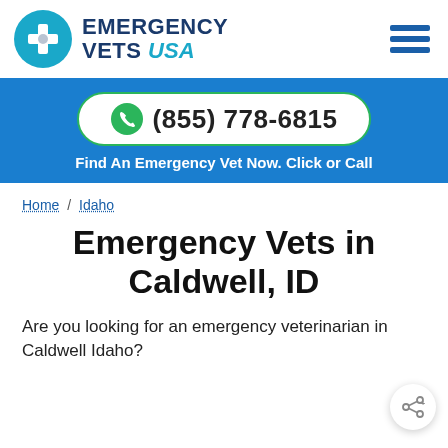[Figure (logo): Emergency Vets USA logo with teal circle containing a white cross and paw print, next to bold text 'EMERGENCY VETS USA']
(855) 778-6815
Find An Emergency Vet Now. Click or Call
Home / Idaho
Emergency Vets in Caldwell, ID
Are you looking for an emergency veterinarian in Caldwell Idaho?